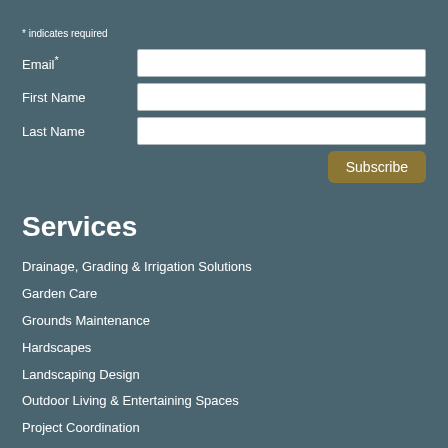* indicates required
Email*
First Name
Last Name
Subscribe
Services
Drainage, Grading & Irrigation Solutions
Garden Care
Grounds Maintenance
Hardscapes
Landscaping Design
Outdoor Living & Entertaining Spaces
Project Coordination
Watergardens